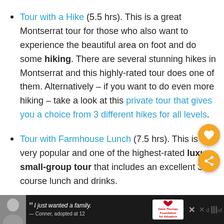Tour with a Hike (5.5 hrs). This is a great Montserrat tour for those who also want to experience the beautiful area on foot and do some hiking. There are several stunning hikes in Montserrat and this highly-rated tour does one of them. Alternatively – if you want to do even more hiking – take a look at this private tour that gives you a choice from 3 different hikes for all levels.
Tour with Farmhouse Lunch (7.5 hrs). This is a very popular and one of the highest-rated luxury small-group tour that includes an excellent 3-course lunch and drinks.
[Figure (screenshot): Advertisement bar at the bottom: photo of a teenage boy, quote text 'I just wanted a family. – Conner, adopted at 12', Dave Thomas Foundation for Adoption logo, and partial text of another item cut off]